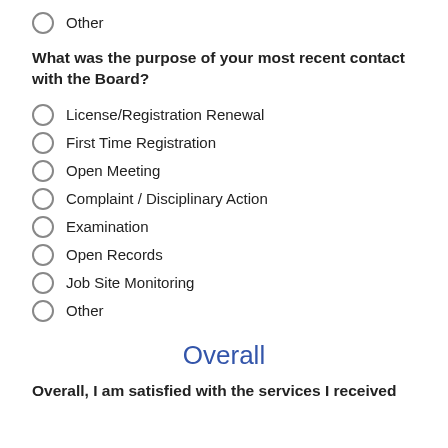Other
What was the purpose of your most recent contact with the Board?
License/Registration Renewal
First Time Registration
Open Meeting
Complaint / Disciplinary Action
Examination
Open Records
Job Site Monitoring
Other
Overall
Overall, I am satisfied with the services I received